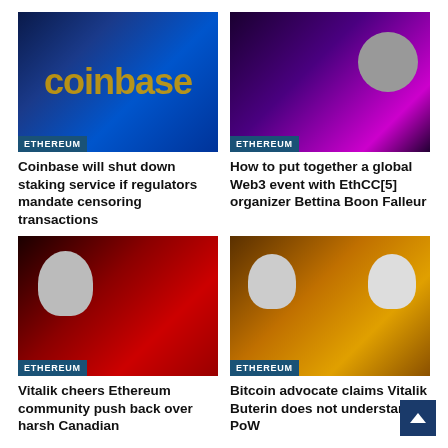[Figure (photo): Coinbase logo on dark blue background with Ethereum category label]
Coinbase will shut down staking service if regulators mandate censoring transactions
[Figure (photo): Woman with dark hair against purple digital background with Ethereum category label]
How to put together a global Web3 event with EthCC[5] organizer Bettina Boon Falleur
[Figure (photo): Vitalik Buterin on red background with Ethereum category label]
Vitalik cheers Ethereum community push back over harsh Canadian
[Figure (photo): Two men on gold Bitcoin background with Ethereum category label]
Bitcoin advocate claims Vitalik Buterin does not understand PoW